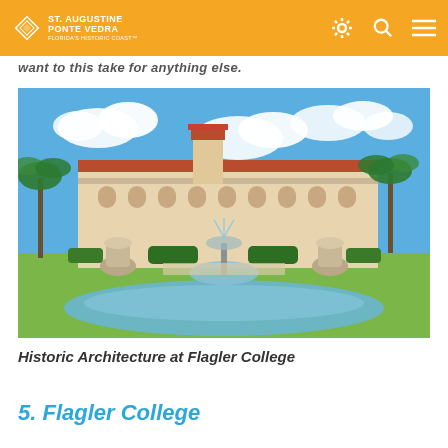ST. AUGUSTINE PONTE VEDRA FLORIDA'S HISTORIC COAST
want to this take for anything else.
[Figure (photo): Outdoor photo of historic architecture at Flagler College showing a Spanish Renaissance Revival building with red tile roof, palm trees, and a decorative fountain in the foreground with reflecting pool under blue sky with clouds.]
Historic Architecture at Flagler College
5. Flagler College